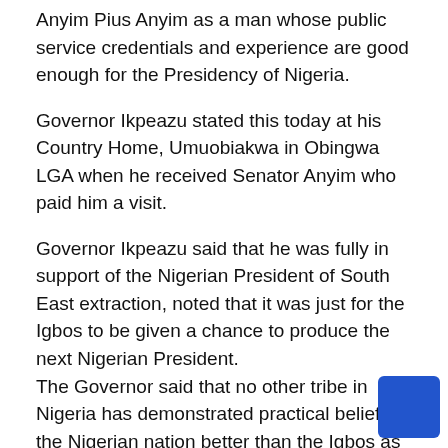Anyim Pius Anyim as a man whose public service credentials and experience are good enough for the Presidency of Nigeria.
Governor Ikpeazu stated this today at his Country Home, Umuobiakwa in Obingwa LGA when he received Senator Anyim who paid him a visit.
Governor Ikpeazu said that he was fully in support of the Nigerian President of South East extraction, noted that it was just for the Igbos to be given a chance to produce the next Nigerian President.
The Governor said that no other tribe in Nigeria has demonstrated practical belief in the Nigerian nation better than the Igbos as can be seen from the fact that our people live and